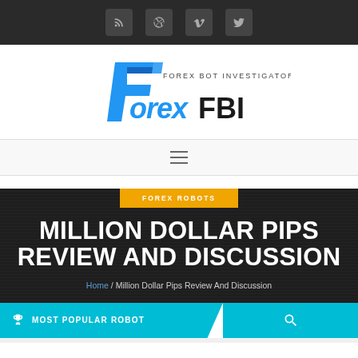Social icons navigation bar (RSS, Dribbble, Vimeo, Twitter)
[Figure (logo): Forex FBI - Forex Bot Investigator logo with blue stylized F and bold FOREX FBI text]
[Figure (other): Hamburger menu icon (three horizontal lines)]
FOREX ROBOTS
MILLION DOLLAR PIPS REVIEW AND DISCUSSION
Home / Million Dollar Pips Review And Discussion
MOST POPULAR ROBOT